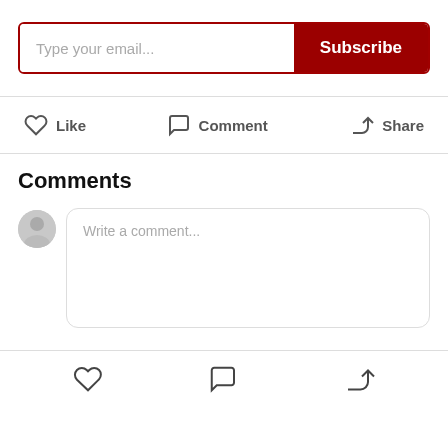[Figure (screenshot): Email subscription bar with text input placeholder 'Type your email...' and a dark red 'Subscribe' button]
[Figure (infographic): Action bar with Like (heart icon), Comment (speech bubble icon), and Share (arrow icon) buttons]
Comments
[Figure (screenshot): Comment input area with grey avatar circle and text box placeholder 'Write a comment...']
[Figure (infographic): Bottom navigation bar with heart icon, speech bubble icon, and share/forward arrow icon]